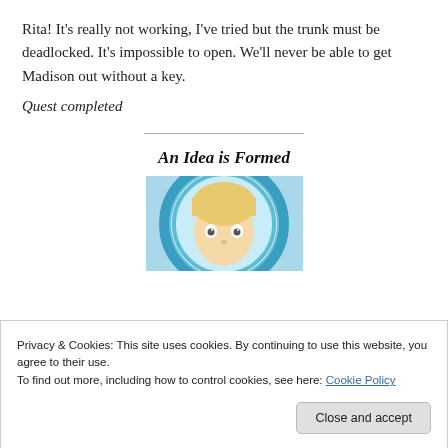Rita! It's really not working, I've tried but the trunk must be deadlocked. It's impossible to open. We'll never be able to get Madison out without a key.
Quest completed
An Idea is Formed
[Figure (illustration): Illustrated character portrait — a person with blonde hair shown through a circular blue portal/frame, with a surprised expression.]
Privacy & Cookies: This site uses cookies. By continuing to use this website, you agree to their use.
To find out more, including how to control cookies, see here: Cookie Policy